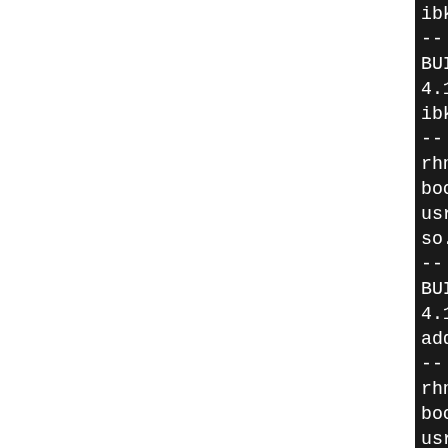[Figure (screenshot): Terminal/console output showing CMake install and runtime path set messages for ka5-kaddressbook package on a black background. The left ~40% of the page is white (blank), and the right ~60% shows the dark terminal text.]